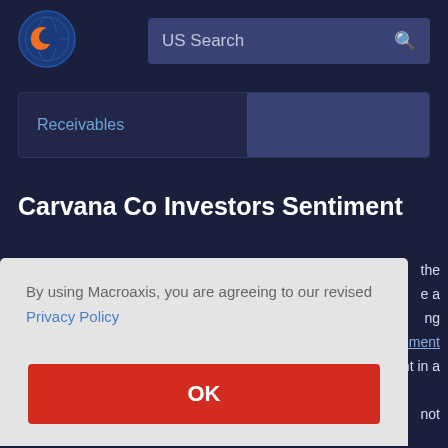[Figure (logo): Macroaxis globe logo with orange and blue colors]
US Search
Receivables
Carvana Co Investors Sentiment
By using Macroaxis, you are agreeing to our revised Privacy Policy
OK
have a solid backing from leading economists and market